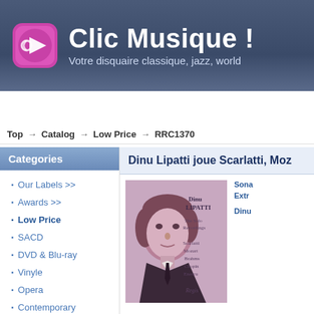Clic Musique ! — Votre disquaire classique, jazz, world
Home
What's New?
Specials
Magazine
Our La...
Top → Catalog → Low Price → RRC1370
Categories
Our Labels >>
Awards >>
Low Price
SACD
DVD & Blu-ray
Vinyle
Opera
Contemporary
Dinu Lipatti joue Scarlatti, Moz...
[Figure (photo): Album cover for Dinu Lipatti The Solo Recordings featuring Scarlatti, Mozart, Brahms, Chopin, Enescu on Regis label, with a black and white portrait photo of Dinu Lipatti tinted pink/purple]
Sona... Extr...
Dinu...